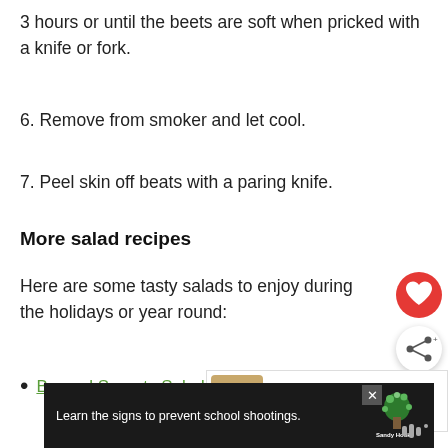3 hours or until the beets are soft when pricked with a knife or fork.
6. Remove from smoker and let cool.
7. Peel skin off beats with a paring knife.
More salad recipes
Here are some tasty salads to enjoy during the holidays or year round:
Brussel Sprouts Salad with Cranberr...
[Figure (screenshot): What's Next widget showing Mexican Christmas... with a food photo thumbnail]
[Figure (screenshot): Advertisement banner: Learn the signs to prevent school shootings. Sandy Hook Promise logo.]